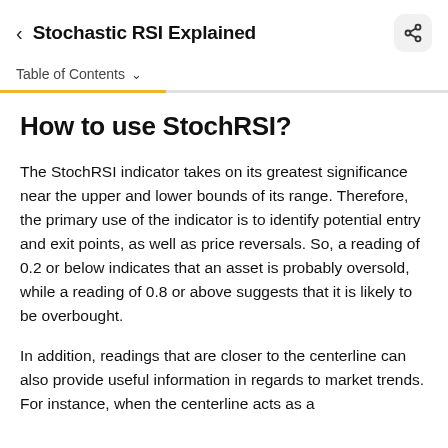Stochastic RSI Explained
Table of Contents
How to use StochRSI?
The StochRSI indicator takes on its greatest significance near the upper and lower bounds of its range. Therefore, the primary use of the indicator is to identify potential entry and exit points, as well as price reversals. So, a reading of 0.2 or below indicates that an asset is probably oversold, while a reading of 0.8 or above suggests that it is likely to be overbought.
In addition, readings that are closer to the centerline can also provide useful information in regards to market trends. For instance, when the centerline acts as a